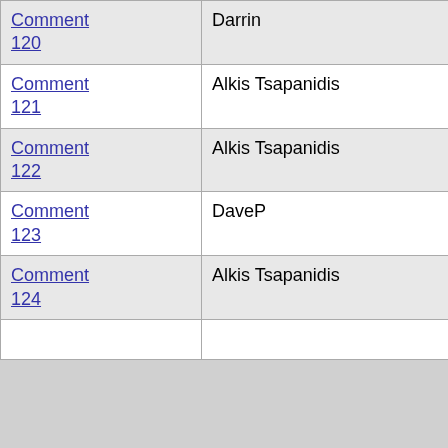| Comment | Author | Role | Date |
| --- | --- | --- | --- |
| Comment 120 | Darrin |  | 03-Jun-2003 16:43 GMT |
| Comment 121 | Alkis Tsapanidis | Registered user | 03-Jun-2003 17:04 GMT |
| Comment 122 | Alkis Tsapanidis | Registered user | 03-Jun-2003 17:06 GMT |
| Comment 123 | DaveP |  | 03-Jun-2003 17:10 GMT |
| Comment 124 | Alkis Tsapanidis | Registered user | 03-Jun-2003 17:12 GMT |
| Comment 125 |  |  | 03- |